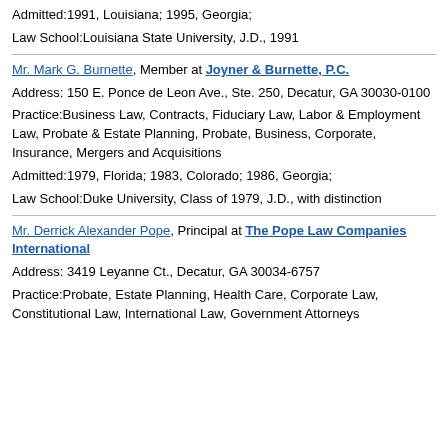Admitted:1991, Louisiana; 1995, Georgia;
Law School:Louisiana State University, J.D., 1991
Mr. Mark G. Burnette, Member at Joyner & Burnette, P.C.
Address: 150 E. Ponce de Leon Ave., Ste. 250, Decatur, GA 30030-0100
Practice:Business Law, Contracts, Fiduciary Law, Labor & Employment Law, Probate & Estate Planning, Probate, Business, Corporate, Insurance, Mergers and Acquisitions
Admitted:1979, Florida; 1983, Colorado; 1986, Georgia;
Law School:Duke University, Class of 1979, J.D., with distinction
Mr. Derrick Alexander Pope, Principal at The Pope Law Companies International
Address: 3419 Leyanne Ct., Decatur, GA 30034-6757
Practice:Probate, Estate Planning, Health Care, Corporate Law, Constitutional Law, International Law, Government Attorneys